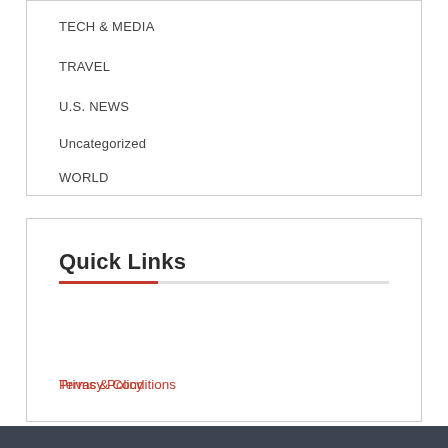TECH & MEDIA
TRAVEL
U.S. NEWS
Uncategorized
WORLD
Quick Links
Terms & Conditions
Privacy Policy